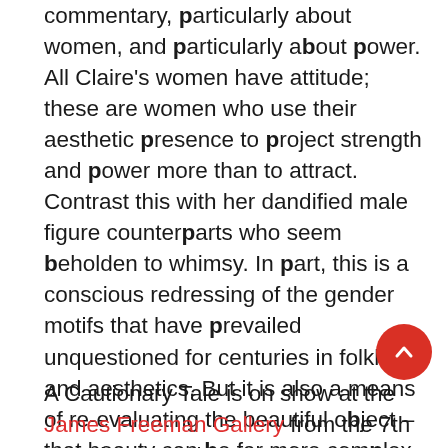commentary, particularly about women, and particularly about power. All Claire's women have attitude; these are women who use their aesthetic presence to project strength and power more than to attract. Contrast this with her dandified male figure counterparts who seem beholden to whimsy. In part, this is a conscious redressing of the gender motifs that have prevailed unquestioned for centuries in folklore and aesthetics. But it is also a means of re-evaluating the beautiful object – that beauty can be far more complex and far more mischievous than it may at first appear.
A Cautionary Tale is on show at the James Freeman Gallery from the 7th to 30th September.